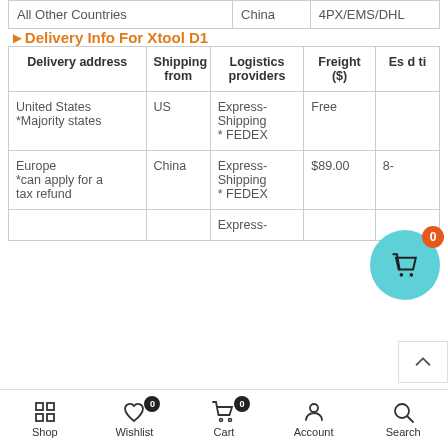| All Other Countries | China | 4PX/EMS/DHL |
►Delivery Info For Xtool D1
| Delivery address | Shipping from | Logistics providers | Freight ($) | Es d ti |
| --- | --- | --- | --- | --- |
| United States *Majority states | US | Express-Shipping * FEDEX | Free |  |
| Europe *can apply for a tax refund | China | Express-Shipping * FEDEX | $89.00 | 8- |
|  |  | Express- |  |  |